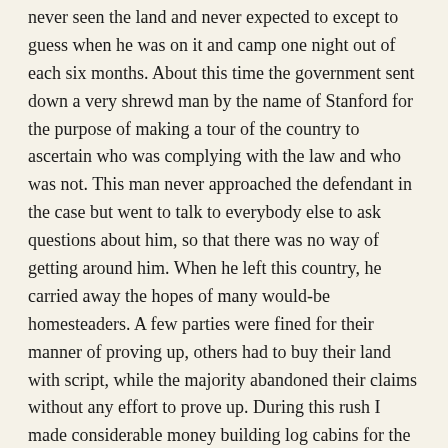never seen the land and never expected to except to guess when he was on it and camp one night out of each six months. About this time the government sent down a very shrewd man by the name of Stanford for the purpose of making a tour of the country to ascertain who was complying with the law and who was not. This man never approached the defendant in the case but went to talk to everybody else to ask questions about him, so that there was no way of getting around him. When he left this country, he carried away the hopes of many would-be homesteaders. A few parties were fined for their manner of proving up, others had to buy their land with script, while the majority abandoned their claims without any effort to prove up. During this rush I made considerable money building log cabins for the would-be homesteaders. I probably built a hundred, scattered all over this country, all of which have been destroyed by woods fires years back.
About the time of the government clean-up, those who were left began to make some improvements on their places and I got